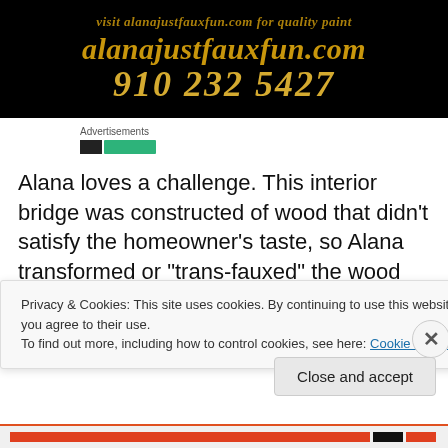[Figure (other): Black banner with gold italic bold text showing website URL 'alanajustfauxfun.com' and phone number '910 232 5427']
Advertisements
Alana loves a challenge. This interior bridge was constructed of wood that didn't satisfy the homeowner's taste, so Alana transformed or "trans-fauxed" the wood
Privacy & Cookies: This site uses cookies. By continuing to use this website, you agree to their use.
To find out more, including how to control cookies, see here: Cookie Policy
Close and accept